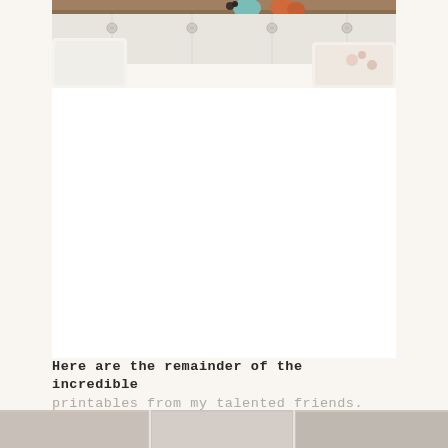[Figure (photo): Partial view of a light gray tufted sofa/headboard with white pillows. The top of the image shows decorative objects including what appears to be a teal/mint colored vase and orange pumpkins on a wooden surface.]
Here are the remainder of the incredible printables from my talented friends.
[Figure (photo): Bottom strip showing partial view of additional photos/printables, cut off at the bottom of the page.]